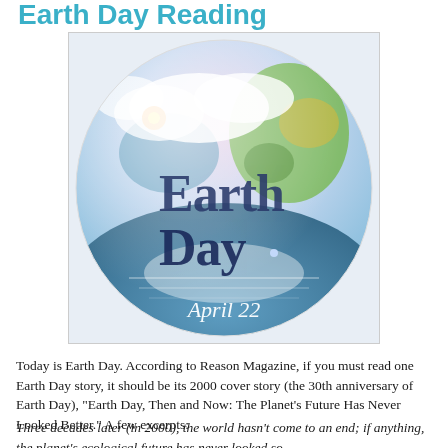Earth Day Reading
[Figure (illustration): Circular Earth Day graphic showing a globe with clouds and water, overlaid with the text 'Earth Day' in large serif font and 'April 22' in white italic script at the bottom.]
Today is Earth Day. According to Reason Magazine, if you must read one Earth Day story, it should be its 2000 cover story (the 30th anniversary of Earth Day), "Earth Day, Then and Now: The Planet's Future Has Never Looked Better." A few excerpts:
Three decades later (in 2000), the world hasn't come to an end; if anything, the planet's ecological future has never looked so